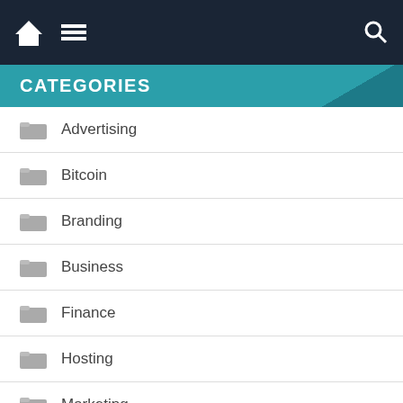Navigation bar with home, menu, and search icons
CATEGORIES
Advertising
Bitcoin
Branding
Business
Finance
Hosting
Marketing
Online Business